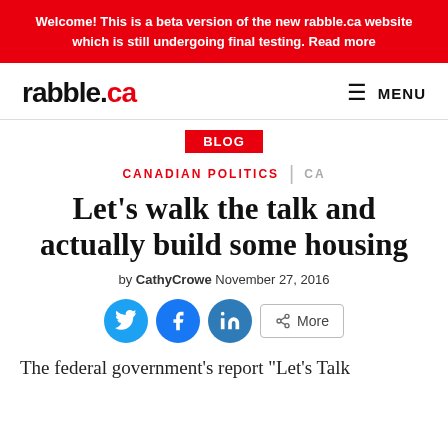Welcome! This is a beta version of the new rabble.ca website which is still undergoing final testing. Read more
[Figure (logo): rabble.ca logo with 'rabble.' in black and 'ca' in red, and MENU button on the right]
BLOG
CANADIAN POLITICS | CA
Let’s walk the talk and actually build some housing
by CathyCrowe November 27, 2016
[Figure (infographic): Social sharing buttons: Twitter (blue circle), Facebook (blue circle), LinkedIn (teal circle), and More button]
The federal government’s report “Let’s Talk